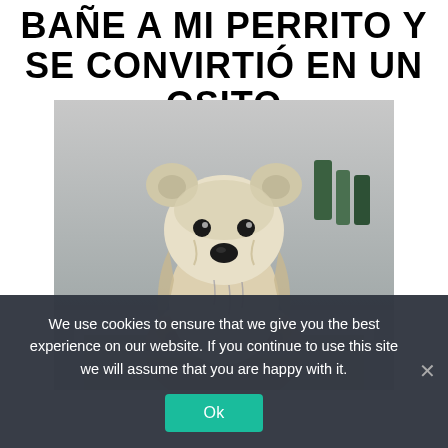BAÑE A MI PERRITO Y SE CONVIRTIÓ EN UN OSITO
[Figure (photo): A wet golden retriever puppy standing in a bathtub, looking at the camera. The wet fur gives it an appearance resembling a bear cub.]
We use cookies to ensure that we give you the best experience on our website. If you continue to use this site we will assume that you are happy with it.